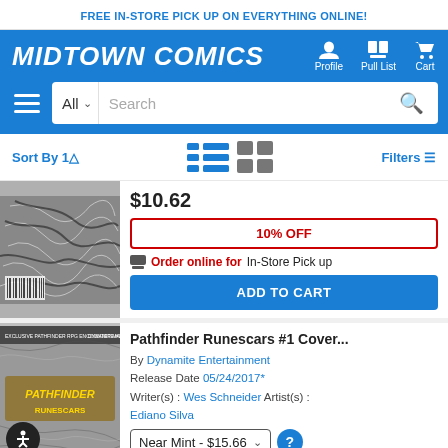FREE IN-STORE PICK UP ON EVERYTHING ONLINE!
[Figure (logo): Midtown Comics logo and navigation bar with Profile, Pull List, Cart icons]
[Figure (screenshot): Search bar with All dropdown and search icon, hamburger menu]
Sort By | [list view icons] [grid view icons] Filters
[Figure (photo): Black and white comic book cover artwork]
$10.62
10% OFF
Order online for In-Store Pick up
ADD TO CART
Pathfinder Runescars #1 Cover...
By Dynamite Entertainment
Release Date 05/24/2017*
Writer(s) : Wes Schneider  Artist(s) : Ediano Silva
Near Mint - $15.66